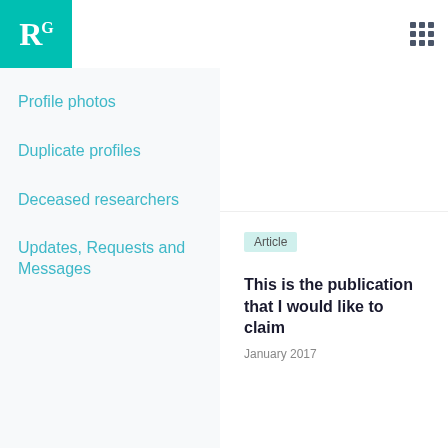[Figure (logo): ResearchGate RG logo in teal/turquoise square with white R and superscript G]
Profile photos
Duplicate profiles
Deceased researchers
Updates, Requests and Messages
Article
This is the publication that I would like to claim
January 2017